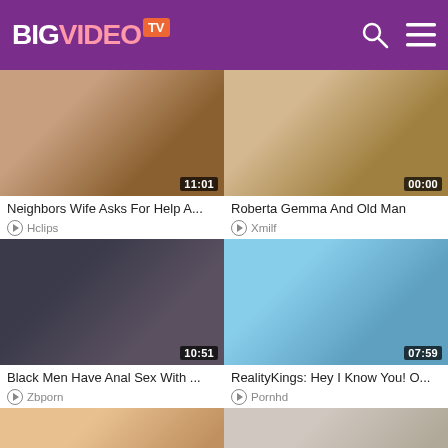BIGVIDEO TV
[Figure (screenshot): Video thumbnail 1 - Neighbors Wife Asks For Help A...]
Neighbors Wife Asks For Help A...
Hclips
[Figure (screenshot): Video thumbnail 2 - Roberta Gemma And Old Man]
Roberta Gemma And Old Man
Xmilf
[Figure (screenshot): Video thumbnail 3 - Black Men Have Anal Sex With ...]
Black Men Have Anal Sex With ...
Zbporn
[Figure (screenshot): Video thumbnail 4 - RealityKings: Hey I Know You! O...]
RealityKings: Hey I Know You! O...
Pornhd
[Figure (screenshot): Video thumbnail 5 - bottom left, duration 41:23]
[Figure (screenshot): Video thumbnail 6 - bottom right, duration 14:24]